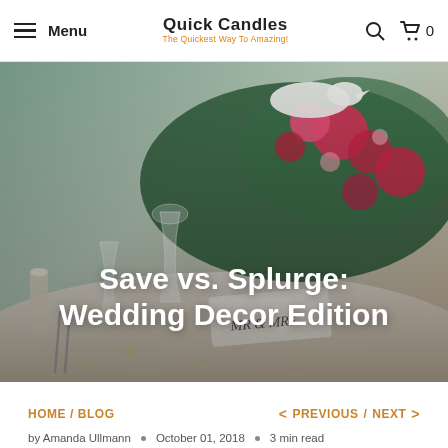Menu | Quick Candles - The Quickest Way To Amazing! | Search | Cart 0
[Figure (photo): Wedding table decor with floral centerpiece of pink and red roses, greenery, wine glasses, silverware, and a white bird decoration and MR & MRS sign]
Save vs. Splurge: Wedding Decor Edition
HOME / BLOG    < PREVIOUS / NEXT >
by Amanda Ullmann • October 01, 2018 • 3 min read